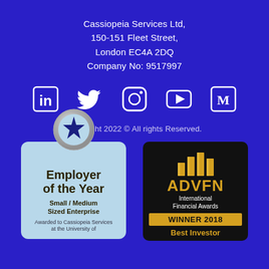Cassiopeia Services Ltd,
150-151 Fleet Street,
London EC4A 2DQ
Company No: 9517997
[Figure (infographic): Social media icons: LinkedIn, Twitter, Instagram, YouTube, Medium on dark blue background]
Copyright 2022 © All rights Reserved.
[Figure (illustration): Employer of the Year badge for Small / Medium Sized Enterprise awarded to Cassiopeia Services at the University of...]
[Figure (illustration): ADVFN International Financial Awards WINNER 2018 Best Investor...]